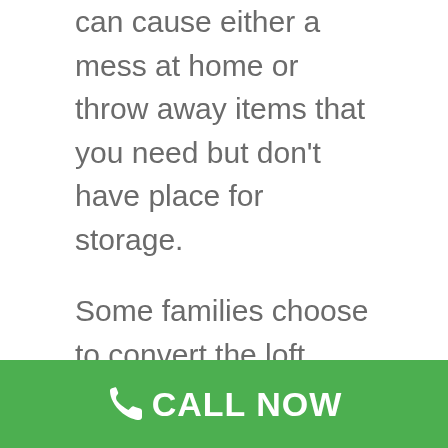can cause either a mess at home or throw away items that you need but don't have place for storage.

Some families choose to convert the loft section of the house to another room and in contrast – there are many homes and families that didn't mainly because there is not enough space and height to convert the loft section to another room or because of renovation costs.
[Figure (other): Green call-to-action bar with phone icon and text 'CALL NOW' in white on a green background]